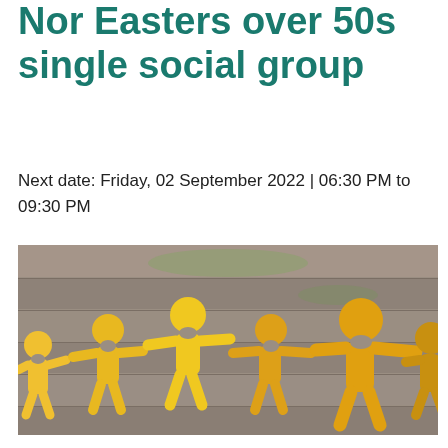Nor Easters over 50s single social group
Next date: Friday, 02 September 2022 | 06:30 PM to 09:30 PM
[Figure (photo): Yellow paper chain figures of people holding hands, arranged in a row on a wooden surface background. The figures are cut-out style, representing social connection.]